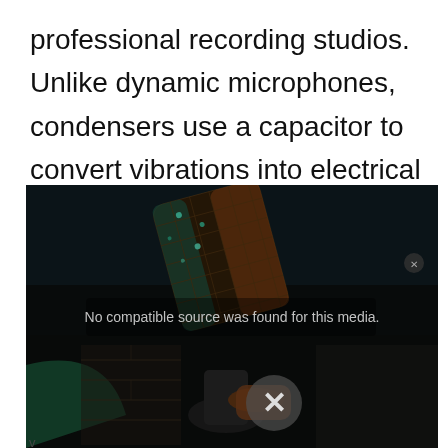professional recording studios. Unlike dynamic microphones, condensers use a capacitor to convert vibrations into electrical signals.
[Figure (photo): A close-up photo of a condenser microphone with a metallic mesh grill illuminated by teal and orange lighting against a dark background. An overlay message reads 'No compatible source was found for this media.' with an X button.]